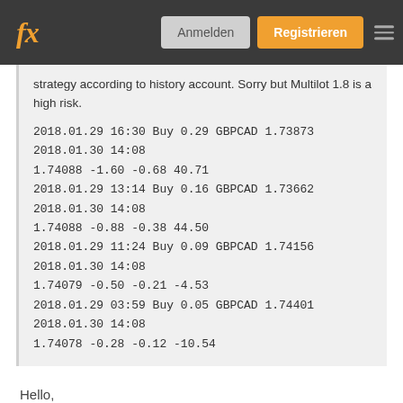fx  Anmelden  Registrieren
strategy according to history account. Sorry but Multilot 1.8 is a high risk.
2018.01.29 16:30 Buy 0.29 GBPCAD 1.73873 2018.01.30 14:08 1.74088 -1.60 -0.68 40.71
2018.01.29 13:14 Buy 0.16 GBPCAD 1.73662 2018.01.30 14:08 1.74088 -0.88 -0.38 44.50
2018.01.29 11:24 Buy 0.09 GBPCAD 1.74156 2018.01.30 14:08 1.74079 -0.50 -0.21 -4.53
2018.01.29 03:59 Buy 0.05 GBPCAD 1.74401 2018.01.30 14:08 1.74078 -0.28 -0.12 -10.54
Hello,
Thank you for your excellent observation.
Regards
Hybrid EA
Lets make some money......